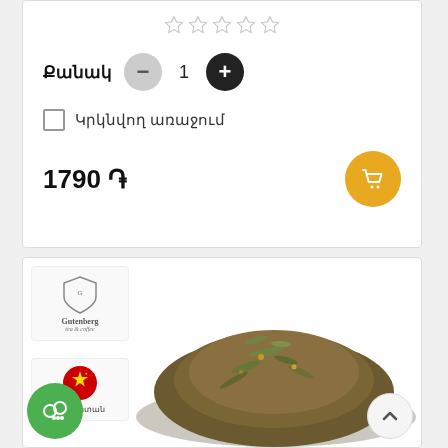[Figure (screenshot): Five empty star rating icons in a row]
Քանակ   -   1   +
☐ Կրկնվող առաջում
1790 ֏
[Figure (logo): Gutenberg tea & coffee logo with shield emblem]
[Figure (photo): China flag circle icon with Armenian text Չինաստան]
[Figure (photo): Loose leaf tea pile photo]